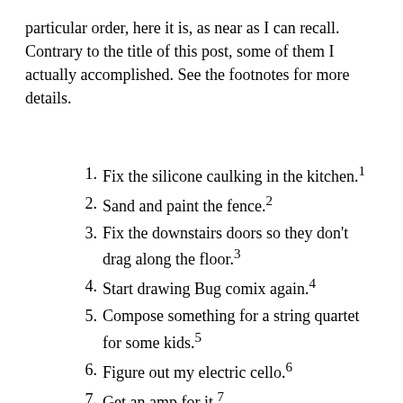particular order, here it is, as near as I can recall. Contrary to the title of this post, some of them I actually accomplished. See the footnotes for more details.
Fix the silicone caulking in the kitchen.¹
Sand and paint the fence.²
Fix the downstairs doors so they don't drag along the floor.³
Start drawing Bug comix again.⁴
Compose something for a string quartet for some kids.⁵
Figure out my electric cello.⁶
Get an amp for it.⁷
Compose a percussion piece to be played by slapping